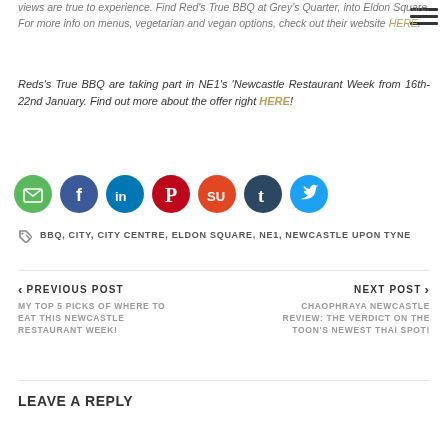views are true to experience. Find Red's True BBQ at Grey's Quarter, into Eldon Square. For more info on menus, vegetarian and vegan options, check out their website HERE.
Reds's True BBQ are taking part in NE1's 'Newcastle Restaurant Week from 16th-22nd January. Find out more about the offer right HERE!
[Figure (infographic): Row of social media share icons: email (green), Facebook (dark blue), LinkedIn (teal-blue), Pinterest (red), StumbleUpon (orange), Tumblr (dark navy), Twitter (light blue)]
BBQ, CITY, CITY CENTRE, ELDON SQUARE, NE1, NEWCASTLE UPON TYNE
PREVIOUS POST
MY TOP 5 PICKS OF WHERE TO EAT THIS NEWCASTLE RESTAURANT WEEK!
NEXT POST
CHAOPHRAYA NEWCASTLE REVIEW: THE VERDICT ON THE TOON'S NEWEST THAI SPOT!
LEAVE A REPLY